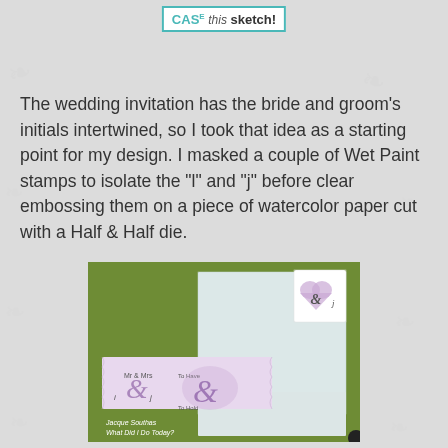CAS(E) this sketch!
The wedding invitation has the bride and groom's initials intertwined, so I took that idea as a starting point for my design. I masked a couple of Wet Paint stamps to isolate the "l" and "j" before clear embossing them on a piece of watercolor paper cut with a Half & Half die.
[Figure (photo): Photo of handmade wedding cards on a green background. Cards feature intertwined initials and ampersand symbols in purple watercolor. Two rectangular cards are shown alongside an envelope. A small tag with a purple heart and ampersand decoration is visible. Photo credit: Jacque Southas, What Did I Do Today?]